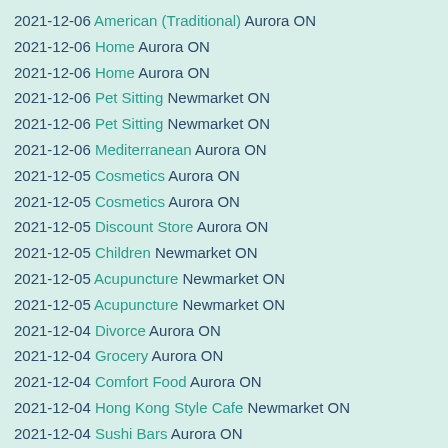2021-12-06 American (Traditional) Aurora ON
2021-12-06 Home Aurora ON
2021-12-06 Home Aurora ON
2021-12-06 Pet Sitting Newmarket ON
2021-12-06 Pet Sitting Newmarket ON
2021-12-06 Mediterranean Aurora ON
2021-12-05 Cosmetics Aurora ON
2021-12-05 Cosmetics Aurora ON
2021-12-05 Discount Store Aurora ON
2021-12-05 Children Newmarket ON
2021-12-05 Acupuncture Newmarket ON
2021-12-05 Acupuncture Newmarket ON
2021-12-04 Divorce Aurora ON
2021-12-04 Grocery Aurora ON
2021-12-04 Comfort Food Aurora ON
2021-12-04 Hong Kong Style Cafe Newmarket ON
2021-12-04 Sushi Bars Aurora ON
2021-12-04 Chicken Shop Aurora ON
2021-12-04 Chicken Shop Aurora ON
2021-12-04 Climbing Newmarket ON
2021-12-04 Chinese Aurora ON
2021-12-04 Chinese Aurora ON